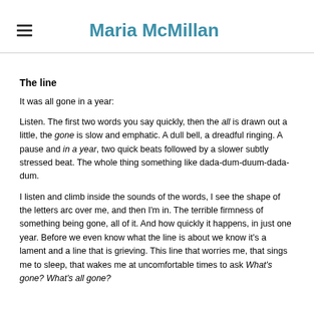Maria McMillan
The line
It was all gone in a year:
Listen. The first two words you say quickly, then the all is drawn out a little, the gone is slow and emphatic. A dull bell, a dreadful ringing. A pause and in a year, two quick beats followed by a slower subtly stressed beat. The whole thing something like dada-dum-duum-dada-dum.
I listen and climb inside the sounds of the words, I see the shape of the letters arc over me, and then I'm in. The terrible firmness of something being gone, all of it. And how quickly it happens, in just one year. Before we even know what the line is about we know it's a lament and a line that is grieving. This line that worries me, that sings me to sleep, that wakes me at uncomfortable times to ask What's gone? What's all gone?